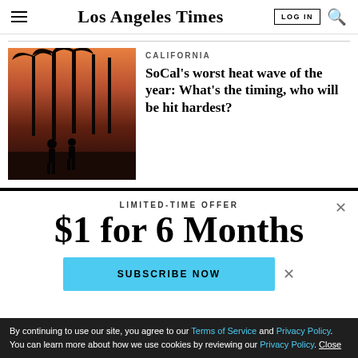Los Angeles Times
[Figure (photo): Two people silhouetted against a sunset with tall palm trees in the background, at what appears to be a beach location]
CALIFORNIA
SoCal's worst heat wave of the year: What's the timing, who will be hit hardest?
LIMITED-TIME OFFER
$1 for 6 Months
SUBSCRIBE NOW
By continuing to use our site, you agree to our Terms of Service and Privacy Policy. You can learn more about how we use cookies by reviewing our Privacy Policy. Close